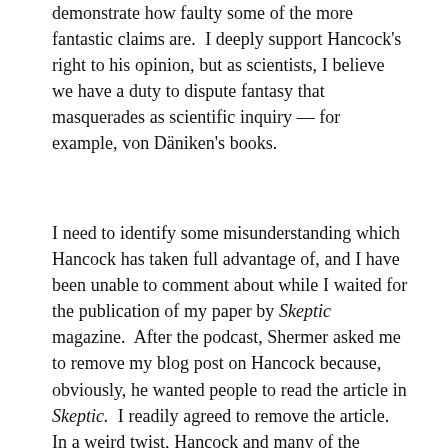demonstrate how faulty some of the more fantastic claims are.  I deeply support Hancock's right to his opinion, but as scientists, I believe we have a duty to dispute fantasy that masquerades as scientific inquiry — for example, von Däniken's books.
I need to identify some misunderstanding which Hancock has taken full advantage of, and I have been unable to comment about while I waited for the publication of my paper by Skeptic magazine.  After the podcast, Shermer asked me to remove my blog post on Hancock because, obviously, he wanted people to read the article in Skeptic.  I readily agreed to remove the article.  In a weird twist, Hancock and many of the viewers of the podcast insisted that this demonstrated that I had made claims in the blog that were incorrect.  That is not